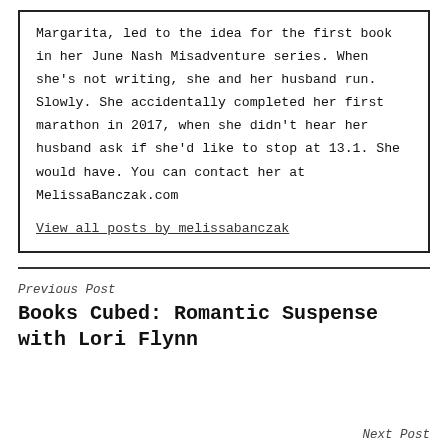Margarita, led to the idea for the first book in her June Nash Misadventure series. When she's not writing, she and her husband run. Slowly. She accidentally completed her first marathon in 2017, when she didn't hear her husband ask if she'd like to stop at 13.1. She would have. You can contact her at MelissaBanczak.com
View all posts by melissabanczak
Previous Post
Books Cubed: Romantic Suspense with Lori Flynn
Next Post